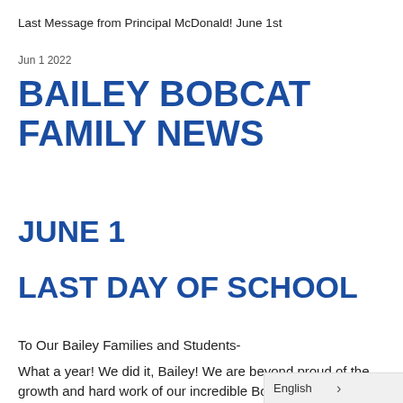Last Message from Principal McDonald! June 1st
Jun 1 2022
BAILEY BOBCAT FAMILY NEWS
JUNE 1
LAST DAY OF SCHOOL
To Our Bailey Families and Students-
What a year! We did it, Bailey! We are beyond proud of the growth and hard work of our incredible Bobcat students throughout this 2021-2